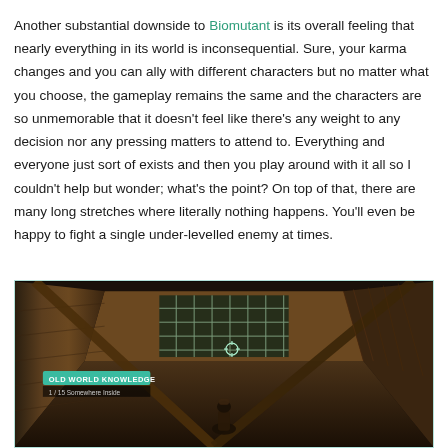Another substantial downside to Biomutant is its overall feeling that nearly everything in its world is inconsequential. Sure, your karma changes and you can ally with different characters but no matter what you choose, the gameplay remains the same and the characters are so unmemorable that it doesn't feel like there's any weight to any decision nor any pressing matters to attend to. Everything and everyone just sort of exists and then you play around with it all so I couldn't help but wonder; what's the point? On top of that, there are many long stretches where literally nothing happens. You'll even be happy to fight a single under-levelled enemy at times.
[Figure (screenshot): In-game screenshot from Biomutant showing a character inside a wooden/stone interior room with diagonal wooden beams, grid-like window, and a UI overlay reading 'OLD WORLD KNOWLEDGE 1/15 Somewhere Inside' with a target reticle visible.]